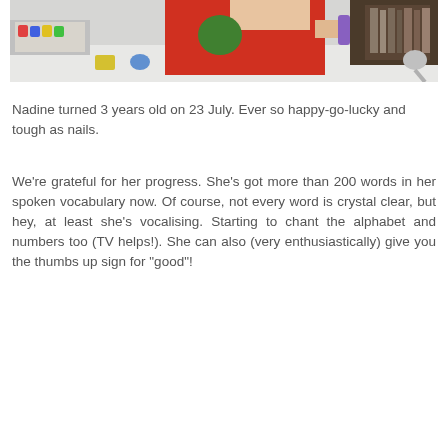[Figure (photo): A child in a red shirt playing indoors, holding a purple object, with colorful toys and a shelf visible in the background.]
Nadine turned 3 years old on 23 July. Ever so happy-go-lucky and tough as nails.
We're grateful for her progress. She's got more than 200 words in her spoken vocabulary now. Of course, not every word is crystal clear, but hey, at least she's vocalising. Starting to chant the alphabet and numbers too (TV helps!). She can also (very enthusiastically) give you the thumbs up sign for "good"!